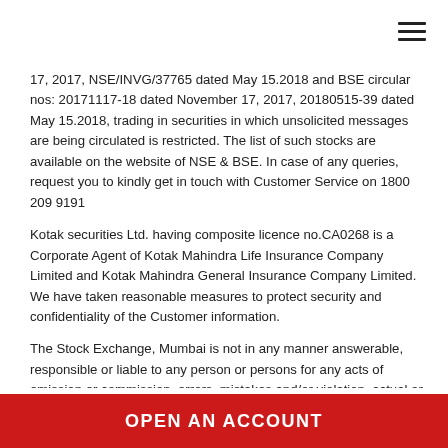17, 2017, NSE/INVG/37765 dated May 15.2018 and BSE circular nos: 20171117-18 dated November 17, 2017, 20180515-39 dated May 15.2018, trading in securities in which unsolicited messages are being circulated is restricted. The list of such stocks are available on the website of NSE & BSE. In case of any queries, request you to kindly get in touch with Customer Service on 1800 209 9191
Kotak securities Ltd. having composite licence no.CA0268 is a Corporate Agent of Kotak Mahindra Life Insurance Company Limited and Kotak Mahindra General Insurance Company Limited. We have taken reasonable measures to protect security and confidentiality of the Customer information.
The Stock Exchange, Mumbai is not in any manner answerable, responsible or liable to any person or persons for any acts of omission or commission, errors, mistakes and/or violation, actual or perceived, by us or our partners, agents, associates etc., of any of the Rules, Regulations, Bye-laws of the Stock Exchange, Mumbai, SEBI Act or any other laws in force from time to time. The Stock Exchange, Mumbai is not answerable, responsible or liable for any information on this Website or for any services rendered by our employees, our servants, and us.
Please do not share your online trading password with anyone as this could
OPEN AN ACCOUNT